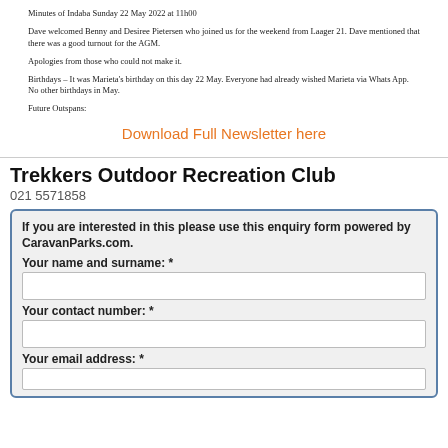Minutes of Indaba Sunday 22 May 2022 at 11h00
Dave welcomed Benny and Desiree Pietersen who joined us for the weekend from Laager 21. Dave mentioned that there was a good turnout for the AGM.
Apologies from those who could not make it.
Birthdays – It was Marieta's birthday on this day 22 May. Everyone had already wished Marieta via Whats App. No other birthdays in May.
Future Outspans:
Download Full Newsletter here
Trekkers Outdoor Recreation Club
021 5571858
If you are interested in this please use this enquiry form powered by CaravanParks.com.
Your name and surname: *
Your contact number: *
Your email address: *